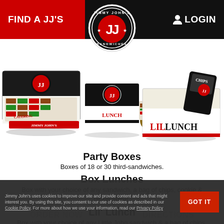FIND A JJ'S   LOGIN
[Figure (logo): Jimmy John's Sandwiches circular logo with JJ in red and black]
[Figure (photo): Three Jimmy John's catering/lunch box products: Party Box (catering box of sandwiches), Box Lunch (JJ Lil' Lunch box with sandwich, cookie, chips), and Lil' Lunch box with chips bag]
Party Boxes
Boxes of 18 or 30 third-sandwiches.
Box Lunches
Box with your choice of any sandwich, a bag of chips, cookie & pickle spear.
Lil' Lunch
Box with your choice of any Little John sandwich & a bag of chips.
Jimmy John's uses cookies to improve our site and provide content and ads that might interest you. By using this site, you consent to our use of cookies as described in our Cookie Policy. For more about how we use your information, read our Privacy Policy